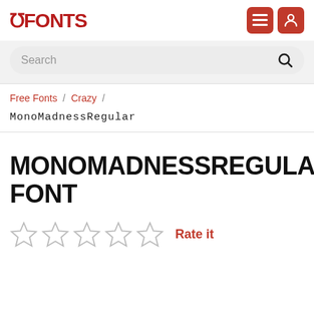FFONTS
Search
Free Fonts / Crazy /
MonoMadnessRegular
MONOMADNESSREGULAR FONT
Rate it